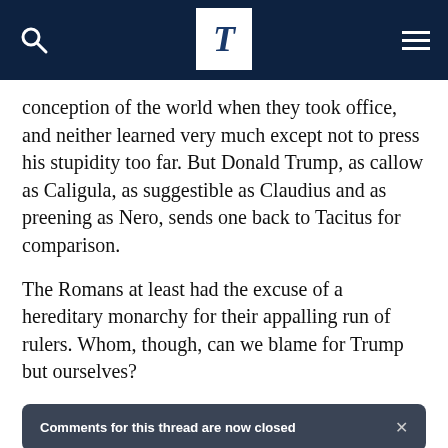T [The Times logo]
conception of the world when they took office, and neither learned very much except not to press his stupidity too far. But Donald Trump, as callow as Caligula, as suggestible as Claudius and as preening as Nero, sends one back to Tacitus for comparison.
The Romans at least had the excuse of a hereditary monarchy for their appalling run of rulers. Whom, though, can we blame for Trump but ourselves?
Comments for this thread are now closed
Comments  Community  🔒  1  Login ▾
♡ Favorite    Sort by Best ▾